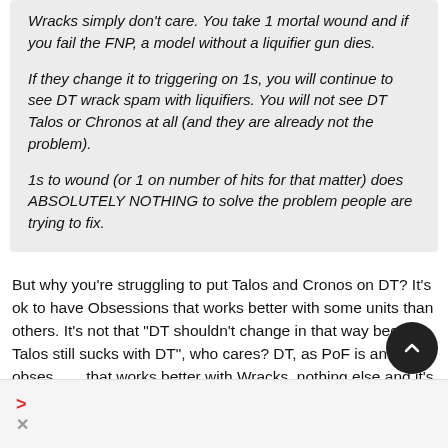Wracks simply don't care. You take 1 mortal wound and if you fail the FNP, a model without a liquifier gun dies.
If they change it to triggering on 1s, you will continue to see DT wrack spam with liquifiers. You will not see DT Talos or Chronos at all (and they are already not the problem).
1s to wound (or 1 on number of hits for that matter) does ABSOLUTELY NOTHING to solve the problem people are trying to fix.
But why you're struggling to put Talos and Cronos on DT? It's ok to have Obsessions that works better with some units than others. It's not that "DT shouldn't change in that way because Talos still sucks with DT", who cares? DT, as PoF is an obsession that works better with Wracks, nothing else and it's totally fine.